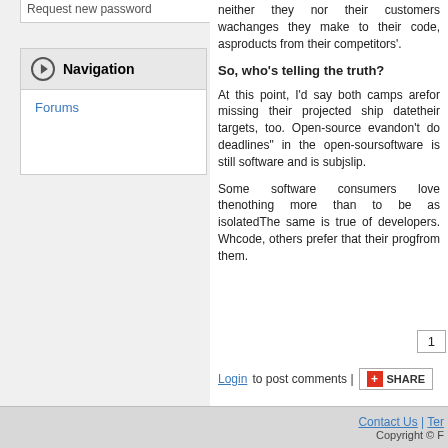Request new password
Navigation
Forums
neither they nor their customers want changes they make to their code, as products from their competitors'.
So, who's telling the truth?
At this point, I'd say both camps are for missing their projected ship date their targets, too. Open-source evan don't do deadlines" in the open-sour software is still software and is subj slip.
Some software consumers love the nothing more than to be as isolated The same is true of developers. Wh code, others prefer that their prog from them.
1
Login to post comments | SHARE
Contact Us | Ter
Copyright © F